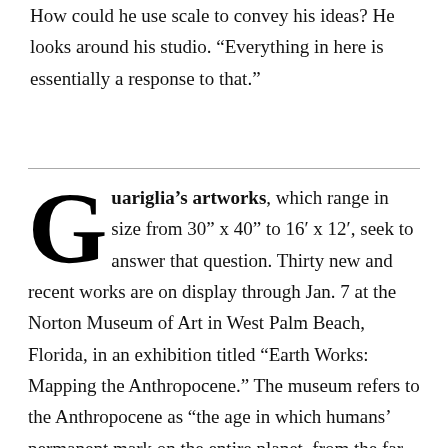How could he use scale to convey his ideas? He looks around his studio. “Everything in here is essentially a response to that.”
Guariglia’s artworks, which range in size from 30” x 40” to 16’ x 12’, seek to answer that question. Thirty new and recent works are on display through Jan. 7 at the Norton Museum of Art in West Palm Beach, Florida, in an exhibition titled “Earth Works: Mapping the Anthropocene.” The museum refers to the Anthropocene as “the age in which humans’ permanent mark on the entire planet, from the far reaches of the atmosphere to the lowest depths of the